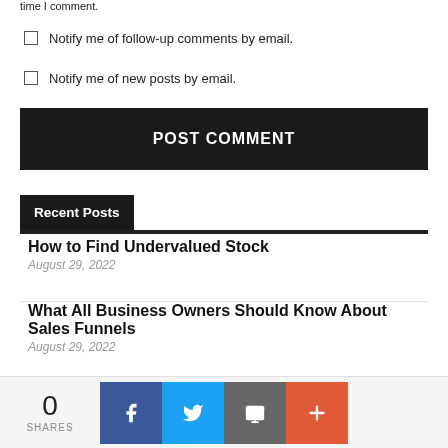time I comment.
Notify me of follow-up comments by email.
Notify me of new posts by email.
POST COMMENT
Recent Posts
How to Find Undervalued Stock
August 29, 2022
What All Business Owners Should Know About Sales Funnels
August 29, 2022
0 SHARES